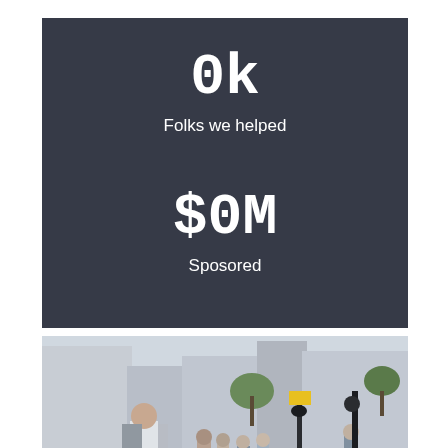0k
Folks we helped
$0M
Sposored
[Figure (photo): Street scene with multiple people walking in an urban environment. A man in the foreground is looking at his phone/camera, wearing shorts and a backpack. Other people walk behind him on what appears to be a city sidewalk with tall buildings, street poles, and trees visible.]